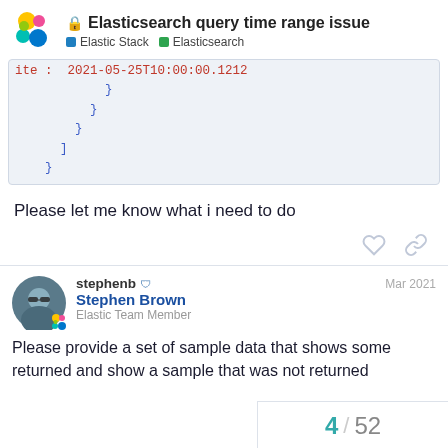Elasticsearch query time range issue | Elastic Stack | Elasticsearch
ite :  2021-03-25T10:00:00.1212
            }
          }
        }
      ]
    }
Please let me know what i need to do
stephenb  Stephen Brown  Elastic Team Member  Mar 2021
Please provide a set of sample data that shows some returned and show a sample that was not returned
4 / 52